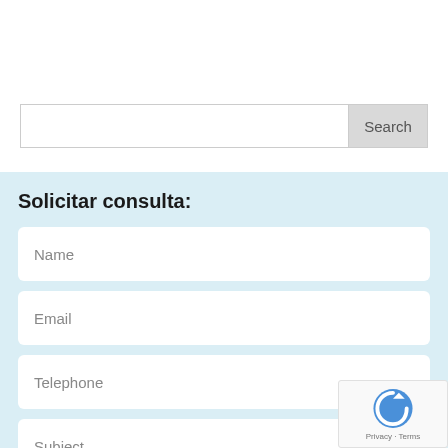[Figure (screenshot): Search input field with a Search button on the right]
Solicitar consulta:
Name
Email
Telephone
Subject